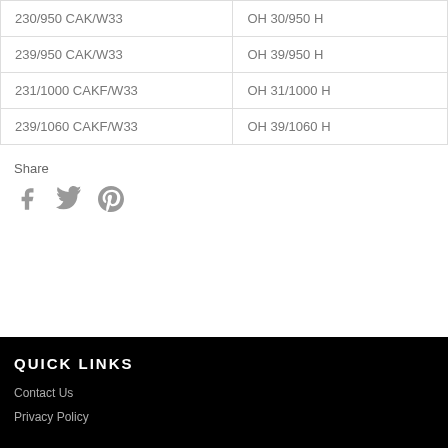| 230/950 CAK/W33 | OH 30/950 H |
| 239/950 CAK/W33 | OH 39/950 H |
| 231/1000 CAKF/W33 | OH 31/1000 H |
| 239/1060 CAKF/W33 | OH 39/1060 H |
Share
[Figure (illustration): Social share icons: Facebook, Twitter, Pinterest]
QUICK LINKS
Contact Us
Privacy Policy